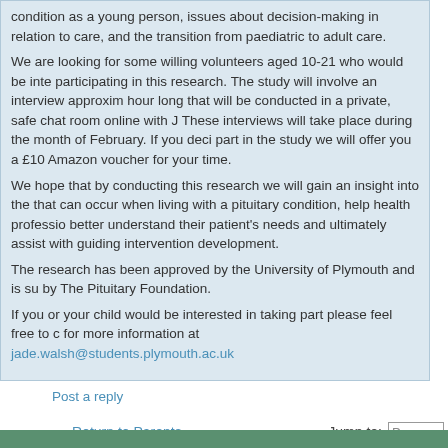condition as a young person, issues about decision-making in relation to care, and the transition from paediatric to adult care. We are looking for some willing volunteers aged 10-21 who would be interested in participating in this research. The study will involve an interview approximately an hour long that will be conducted in a private, safe chat room online with J... These interviews will take place during the month of February. If you decide to take part in the study we will offer you a £10 Amazon voucher for your time. We hope that by conducting this research we will gain an insight into the issues that can occur when living with a pituitary condition, help health professionals better understand their patient's needs and ultimately assist with guiding intervention development. The research has been approved by the University of Plymouth and is supported by The Pituitary Foundation. If you or your child would be interested in taking part please feel free to contact for more information at jade.walsh@students.plymouth.ac.uk
Post a reply
Return to Parents
Jump to:
WHO IS ONLINE
Users browsing this forum: No registered users and 1 guest